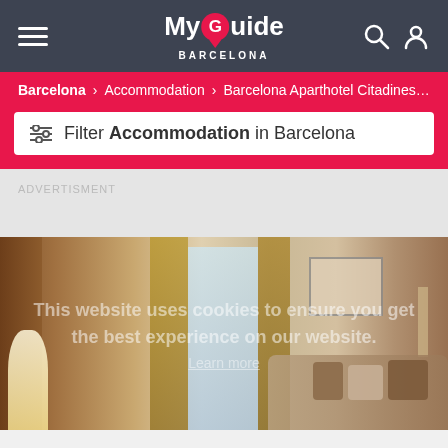My Guide BARCELONA
Barcelona > Accommodation > Barcelona Aparthotel Citadines ...
Filter Accommodation in Barcelona
ADVERTISMENT
[Figure (photo): Interior of a hotel room at Barcelona Aparthotel Citadines, showing a living area with a sofa, lamp, window with curtains showing a city building outside, artwork on walls, and a bookshelf. Overlaid with cookie consent text: 'This website uses cookies to ensure you get the best experience on our website.']